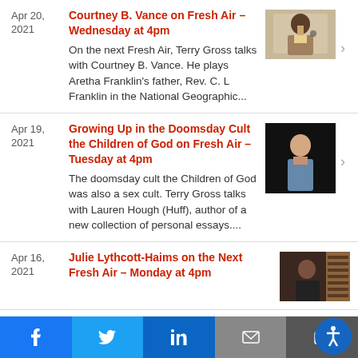Apr 20, 2021 | Courtney B. Vance on Fresh Air – Wednesday at 4pm | On the next Fresh Air, Terry Gross talks with Courtney B. Vance. He plays Aretha Franklin's father, Rev. C. L Franklin in the National Geographic...
Apr 19, 2021 | Growing Up in the Doomsday Cult the Children of God on Fresh Air – Tuesday at 4pm | The doomsday cult the Children of God was also a sex cult. Terry Gross talks with Lauren Hough (Huff), author of a new collection of personal essays....
Apr 16, 2021 | Julie Lythcott-Haims on the Next Fresh Air – Monday at 4pm
Social share bar: Facebook, Twitter, LinkedIn, Email, Share